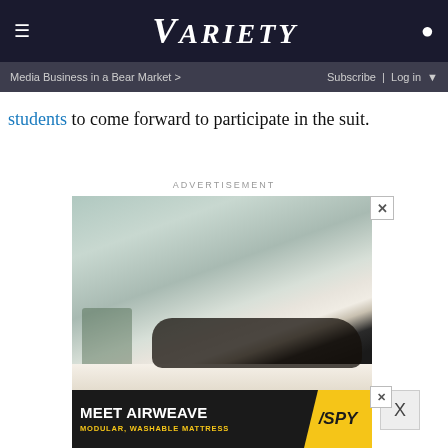VARIETY — Media Business in a Bear Market > | Subscribe | Log in
students to come forward to participate in the suit.
ADVERTISEMENT
[Figure (photo): Advertisement for Airweave mattress showing a person lying on a mattress with text MEET AIRWEAVE MODULAR, WASHABLE MATTRESS and SPY logo]
[Figure (photo): Bottom sticky advertisement banner for Airweave mattress: MEET AIRWEAVE MODULAR, WASHABLE MATTRESS with SPY logo]